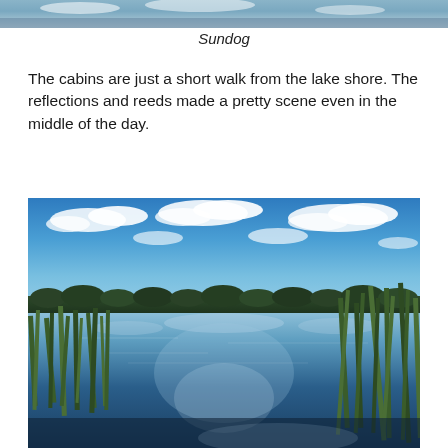[Figure (photo): Partial view of a lake/atmospheric photo — cropped top edge of a scenic outdoor image (Sundog)]
Sundog
The cabins are just a short walk from the lake shore. The reflections and reeds made a pretty scene even in the middle of the day.
[Figure (photo): Landscape photo of a calm lake with tall green reeds/cattails in the foreground, reflections of blue sky with white clouds on the water surface, and a treeline on the distant horizon under a vivid blue sky.]